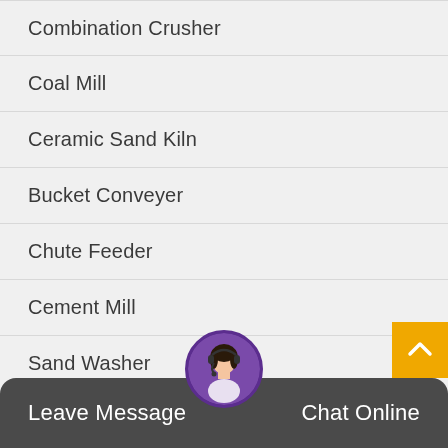Combination Crusher
Coal Mill
Ceramic Sand Kiln
Bucket Conveyer
Chute Feeder
Cement Mill
Sand Washer
Hammer Crusher
Charcoal Briquetting Machine
Leave Message  Chat Online